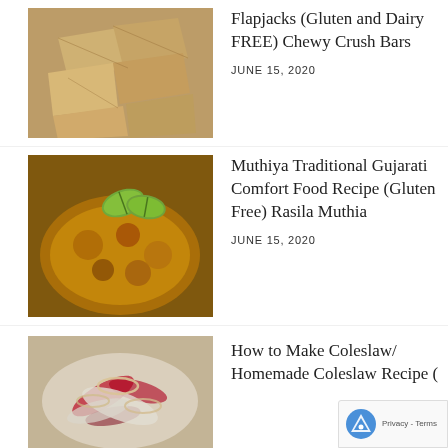[Figure (photo): Overhead photo of flapjack chewy crush bars broken into pieces on a white plate, golden-brown oat texture]
Flapjacks (Gluten and Dairy FREE) Chewy Crush Bars
JUNE 15, 2020
[Figure (photo): Bowl of Muthiya traditional Gujarati dish in orange-yellow curry sauce with lime wedges on top]
Muthiya Traditional Gujarati Comfort Food Recipe (Gluten Free) Rasila Muthia
JUNE 15, 2020
[Figure (photo): Partial view of coleslaw with red cabbage, white cabbage and onion rings in a bowl]
How to Make Coleslaw/ Homemade Coleslaw Recipe (